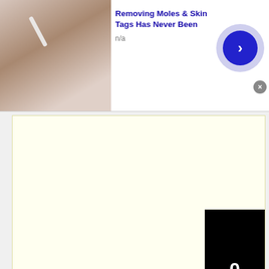[Figure (screenshot): Advertisement banner: 'Removing Moles & Skin Tags Has Never Been' with thumbnail of woman applying product near eye, n/a subtext, blue arrow button, close X]
[Figure (screenshot): Large yellow/cream colored advertisement block with black overlay panel showing '0' in white text]
[Figure (screenshot): Advertisement banner: 'Frontgate SALES' with outdoor furniture thumbnail, 'up to 50% off', 'frontgate.com' in green, blue arrow button, close X, ads info icon]